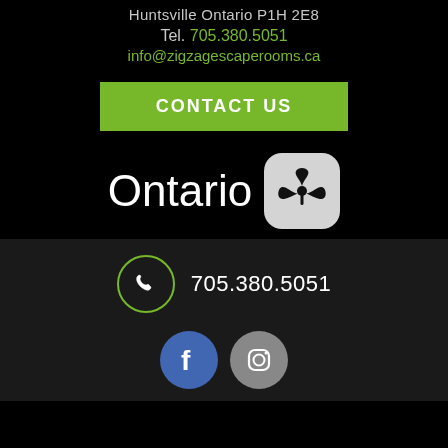Huntsville Ontario P1H 2E8
Tel. 705.380.5051
info@zigzagescaperooms.ca
CONTACT US
[Figure (logo): Ontario provincial government logo with trillium symbol on grey rounded square badge]
705.380.5051
[Figure (logo): Facebook and Instagram social media icons]